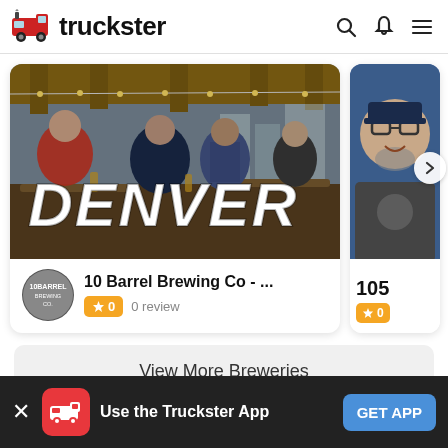truckster
[Figure (screenshot): Truckster app card showing Denver brewery scene with text DENVER overlaid, 10 Barrel Brewing Co listing with 0 rating, and partial second card showing profile photo and 105 rating]
10 Barrel Brewing Co - ...
0  0 review
105
View More Breweries
Use the Truckster App
GET APP